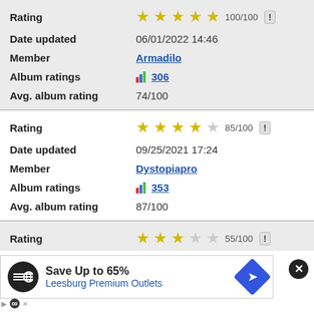| Field | Value |
| --- | --- |
| Rating | 100/100 |
| Date updated | 06/01/2022 14:46 |
| Member | Armadilo |
| Album ratings | 306 |
| Avg. album rating | 74/100 |
| Field | Value |
| --- | --- |
| Rating | 85/100 |
| Date updated | 09/25/2021 17:24 |
| Member | Dystopiapro |
| Album ratings | 353 |
| Avg. album rating | 87/100 |
| Field | Value |
| --- | --- |
| Rating | 55/100 |
[Figure (screenshot): Advertisement banner: Save Up to 65% Leesburg Premium Outlets with logo and navigation icon]